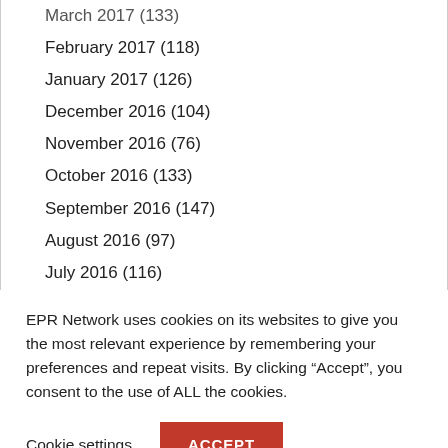March 2017 (133)
February 2017 (118)
January 2017 (126)
December 2016 (104)
November 2016 (76)
October 2016 (133)
September 2016 (147)
August 2016 (97)
July 2016 (116)
June 2016 (171)
May 2016 (193)
April 2016 (173)
March 2016 (211)
EPR Network uses cookies on its websites to give you the most relevant experience by remembering your preferences and repeat visits. By clicking “Accept”, you consent to the use of ALL the cookies.
Cookie settings  ACCEPT